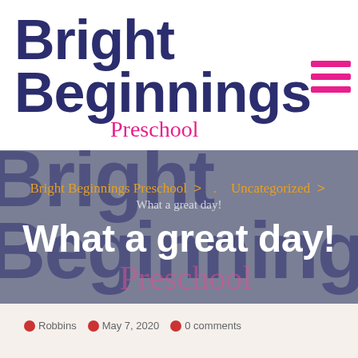Bright Beginnings Preschool
[Figure (logo): Bright Beginnings Preschool logo with dark navy bold text and pink cursive 'Preschool' subtitle, plus hamburger menu icon in pink]
[Figure (infographic): Gray banner with watermark background text 'Bright Beginnings Preschool' in dark navy, breadcrumb navigation showing 'Bright Beginnings Preschool > . Uncategorized > What a great day!', and page title 'What a great day!' in white bold text]
By Robbins  May 7, 2020  0 comments